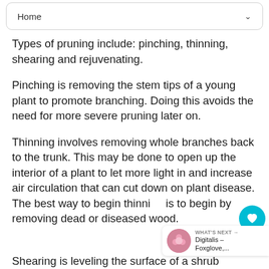Home
Types of pruning include: pinching, thinning, shearing and rejuvenating.
Pinching is removing the stem tips of a young plant to promote branching. Doing this avoids the need for more severe pruning later on.
Thinning involves removing whole branches back to the trunk. This may be done to open up the interior of a plant to let more light in and increase air circulation that can cut down on plant disease. The best way to begin thinning is to begin by removing dead or diseased wood.
Shearing is leveling the surface of a shrub